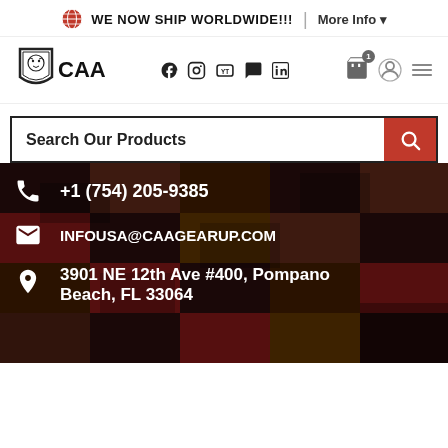WE NOW SHIP WORLDWIDE!!!   |   More Info
[Figure (logo): CAA logo with lion shield emblem]
[Figure (infographic): Social media icons: Facebook, Instagram, YouTube, Chat, LinkedIn]
[Figure (infographic): Nav icons: cart with badge 1, user profile, hamburger menu]
Search Our Products
+1 (754) 205-9385
INFOUSA@CAAGEARUP.COM
3901 NE 12th Ave #400, Pompano Beach, FL 33064